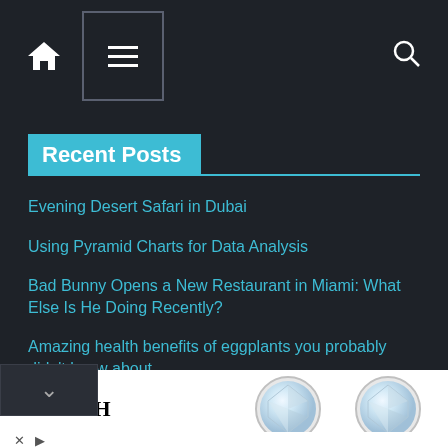[Figure (screenshot): Dark navigation bar with home icon, hamburger menu icon in bordered box, and search icon]
Recent Posts
Evening Desert Safari in Dubai
Using Pyramid Charts for Data Analysis
Bad Bunny Opens a New Restaurant in Miami: What Else Is He Doing Recently?
Amazing health benefits of eggplants you probably didn't know about
...Crypto CFD Liquidity Important?
[Figure (logo): LEIBISH brand advertisement with diamond stud earrings]